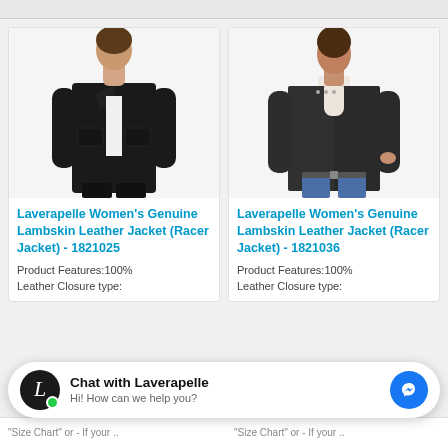[Figure (photo): Woman wearing a black lambskin leather racer jacket over a white shirt with black pants]
Laverapelle Women's Genuine Lambskin Leather Jacket (Racer Jacket) - 1821025
Product Features:100% Leather Closure type:
[Figure (photo): Woman wearing a dark grey lambskin leather racer jacket over a white turtleneck with blue jeans]
Laverapelle Women's Genuine Lambskin Leather Jacket (Racer Jacket) - 1821036
Product Features:100% Leather Closure type:
Chat with Laverapelle
Hi! How can we help you?
"Size Chart" or - If your ..
"Size Chart" or - If your ..